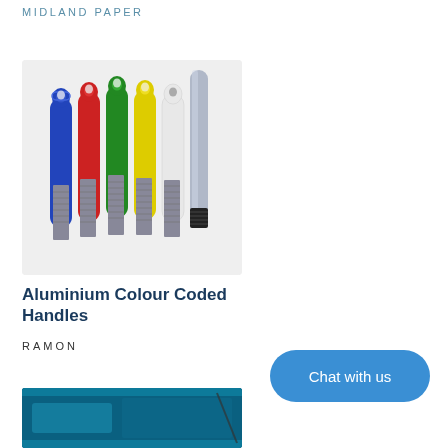MIDLAND PAPER
[Figure (photo): Five aluminium colour coded handles (blue, red, green, yellow, white) and one bare aluminium handle shown vertically side by side on a light grey background]
Aluminium Colour Coded Handles
RAMON
[Figure (photo): Partial view of a blue product box at the bottom of the page]
Chat with us